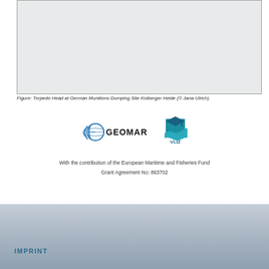[Figure (photo): Empty gray image box representing Torpedo Head at German Munitions Dumping Site Kolberger Heide]
Figure: Torpedo Head at German Munitions Dumping Site Kolberger Heide (© Jana Ulrich).
[Figure (logo): GEOMAR logo with globe icon and VLIZ logo with stylized wave and graduation cap]
With the contribution of the European Maritime and Fisheries Fund
Grant Agreement No: 863702
IMPRINT